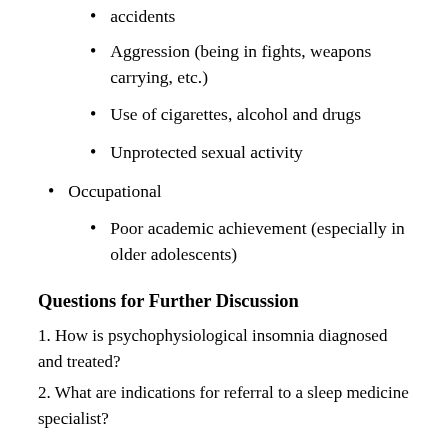accidents
Aggression (being in fights, weapons carrying, etc.)
Use of cigarettes, alcohol and drugs
Unprotected sexual activity
Occupational
Poor academic achievement (especially in older adolescents)
Questions for Further Discussion
1. How is psychophysiological insomnia diagnosed and treated?
2. What are indications for referral to a sleep medicine specialist?